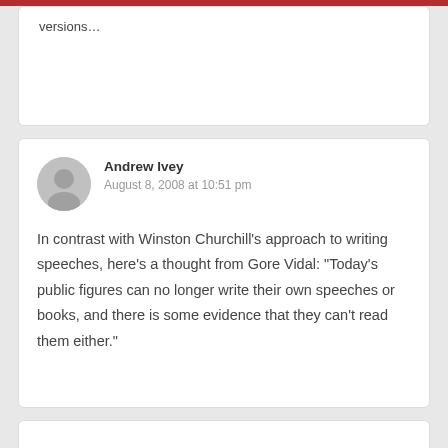versions…
Andrew Ivey
August 8, 2008 at 10:51 pm
In contrast with Winston Churchill's approach to writing speeches, here’s a thought from Gore Vidal: “Today’s public figures can no longer write their own speeches or books, and there is some evidence that they can’t read them either.”